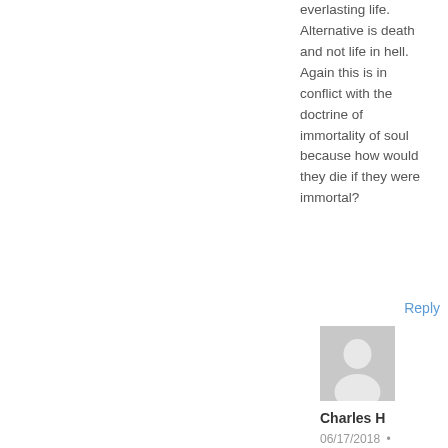everlasting life. Alternative is death and not life in hell. Again this is in conflict with the doctrine of immortality of soul because how would they die if they were immortal?
Reply
[Figure (illustration): Generic user avatar showing silhouette of a person on gray background]
Charles H
06/17/2018 •
andre,

The second death may mean separation from